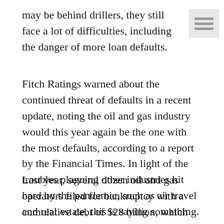may be behind drillers, they still face a lot of difficulties, including the danger of more loan defaults.
Fitch Ratings warned about the continued threat of defaults in a recent update, noting the oil and gas industry would this year again be the one with the most defaults, according to a report by the Financial Times. In light of the troubles plaguing other industries hit hard by the pandemic, such as air travel and real estate, this is saying something.
Last year, several dozen oil and gas operators filed for bankruptcy with a cumulative debt of $28 billion, which far outstripped the cumulative debt of any other industry. This year, according to Fitch, the amount of debt in default will be lower, estimated at $15-18 billion, but it will still make